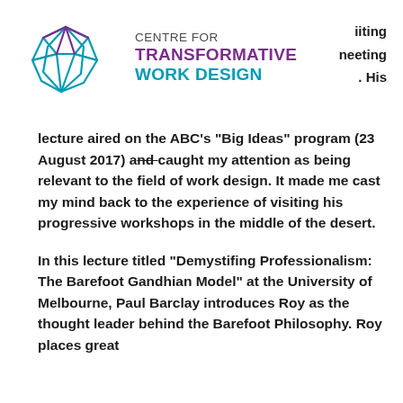CENTRE FOR TRANSFORMATIVE WORK DESIGN
. His lecture aired on the ABC's "Big Ideas" program (23 August 2017) and caught my attention as being relevant to the field of work design.  It made me cast my mind back to the experience of visiting his progressive workshops in the middle of the desert.
In this lecture titled "Demystifing Professionalism: The Barefoot Gandhian Model" at the University of Melbourne, Paul Barclay introduces Roy as the thought leader behind the Barefoot Philosophy. Roy places great